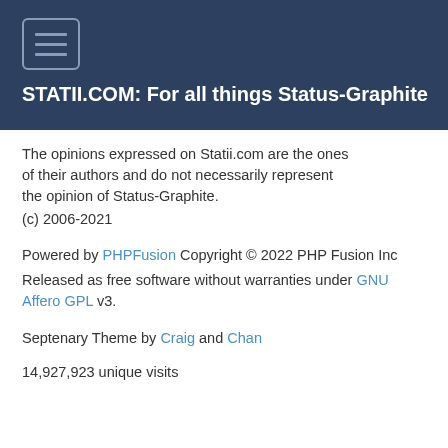STATII.COM: For all things Status-Graphite
The opinions expressed on Statii.com are the ones of their authors and do not necessarily represent the opinion of Status-Graphite.
(c) 2006-2021
Powered by PHPFusion Copyright © 2022 PHP Fusion Inc
Released as free software without warranties under GNU Affero GPL v3.
Septenary Theme by Craig and Chan
14,927,923 unique visits